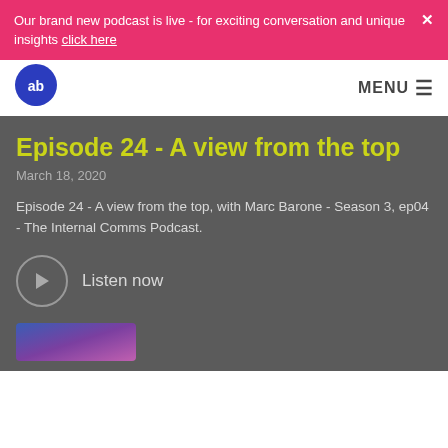Our brand new podcast is live - for exciting conversation and unique insights click here
[Figure (logo): AB logo - blue speech bubble with 'ab' text in white]
MENU
Episode 24 - A view from the top
March 18, 2020
Episode 24 - A view from the top, with Marc Barone - Season 3, ep04 - The Internal Comms Podcast.
Listen now
[Figure (photo): Partial thumbnail image with blue and purple gradient tones]